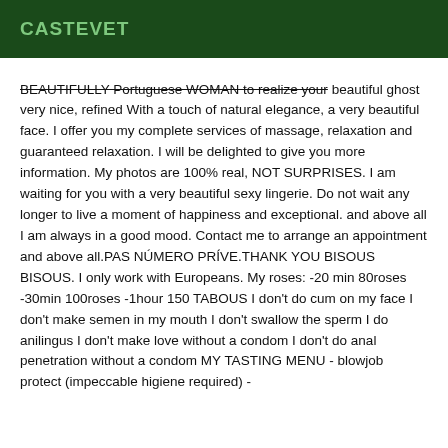CASTEVET
BEAUTIFULLY Portuguese WOMAN to realize your beautiful ghost very nice, refined With a touch of natural elegance, a very beautiful face. I offer you my complete services of massage, relaxation and guaranteed relaxation. I will be delighted to give you more information. My photos are 100% real, NOT SURPRISES. I am waiting for you with a very beautiful sexy lingerie. Do not wait any longer to live a moment of happiness and exceptional. and above all I am always in a good mood. Contact me to arrange an appointment and above all.PAS NÚMERO PRÍVE.THANK YOU BISOUS BISOUS. I only work with Europeans. My roses: -20 min 80roses -30min 100roses -1hour 150 TABOUS I don't do cum on my face I don't make semen in my mouth I don't swallow the sperm I do anilingus I don't make love without a condom I don't do anal penetration without a condom MY TASTING MENU - blowjob protect (impeccable higiene required) -